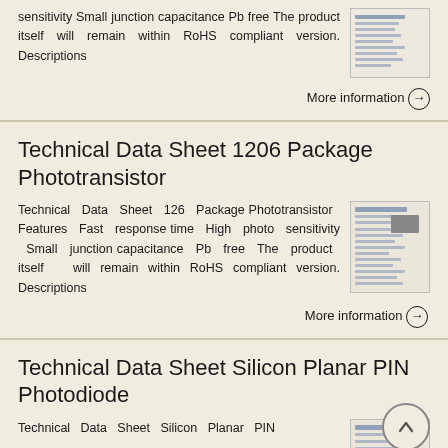sensitivity Small junction capacitance Pb free The product itself will remain within RoHS compliant version. Descriptions
[Figure (screenshot): Thumbnail image of a technical data sheet document]
More information →
Technical Data Sheet 1206 Package Phototransistor
Technical Data Sheet 126 Package Phototransistor Features Fast response time High photo sensitivity Small junction capacitance Pb free The product itself will remain within RoHS compliant version. Descriptions
[Figure (screenshot): Thumbnail image of a technical data sheet for 1206 Package Phototransistor]
More information →
Technical Data Sheet Silicon Planar PIN Photodiode
Technical Data Sheet Silicon Planar PIN
[Figure (screenshot): Thumbnail image of a technical data sheet for Silicon Planar PIN Photodiode]